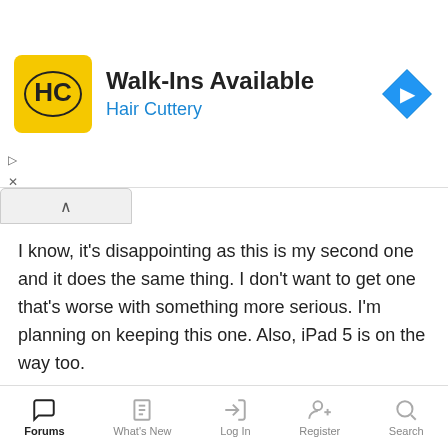[Figure (illustration): Hair Cuttery advertisement banner showing logo, 'Walk-Ins Available' headline, and blue navigation arrow icon]
I know, it's disappointing as this is my second one and it does the same thing. I don't want to get one that's worse with something more serious. I'm planning on keeping this one. Also, iPad 5 is on the way too.
oion
Well-Known Member
Oct 30, 2013
#10
Remember, 1 year warranty? If you buy the extended: Ask
Forums   What's New   Log In   Register   Search